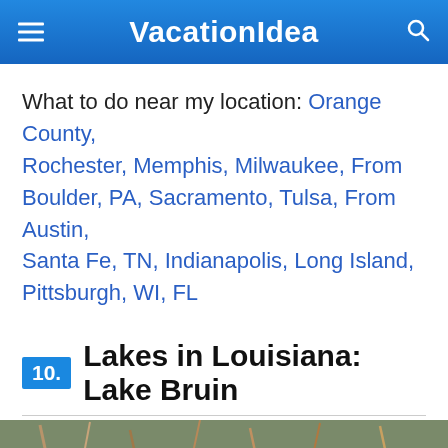VacationIdea
What to do near my location: Orange County, Rochester, Memphis, Milwaukee, From Boulder, PA, Sacramento, Tulsa, From Austin, Santa Fe, TN, Indianapolis, Long Island, Pittsburgh, WI, FL
10. Lakes in Louisiana: Lake Bruin
[Figure (photo): Outdoor nature photo showing sticks, branches and ground cover near a lake in Louisiana]